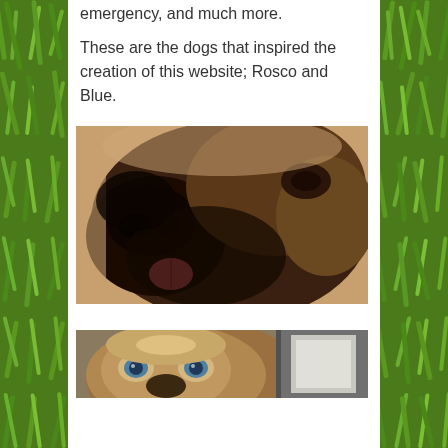emergency, and much more.
These are the dogs that inspired the creation of this website; Rosco and Blue.
[Figure (photo): Close-up photo of a dark brown dog's face, showing nose and partially visible tongue, snuggled against a person.]
[Figure (photo): Photo of a lighter-colored dog (Blue) looking up at the camera, with blue eyes, inside what appears to be a vehicle or trailer.]